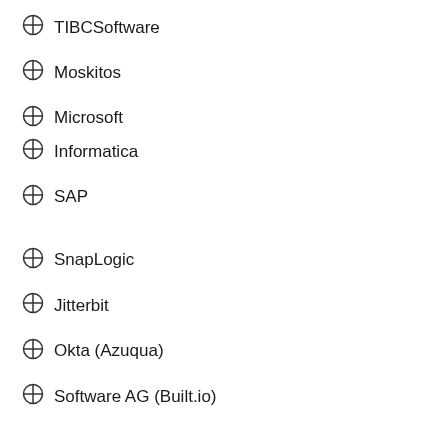TIBCSoftware
Moskitos
Microsoft
Informatica
SAP
SnapLogic
Jitterbit
Okta (Azuqua)
Software AG (Built.io)